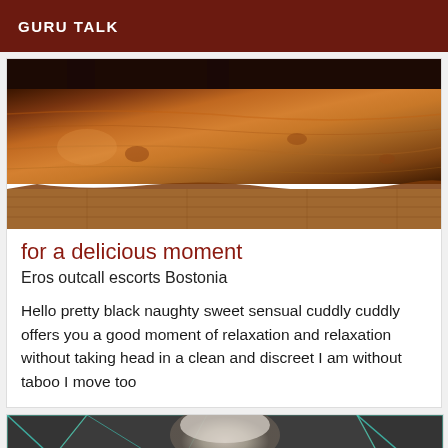GURU TALK
[Figure (photo): Close-up photo of a wooden bench or furniture piece made from a rough-hewn natural wood slab, set on a hardwood floor. Dark legs visible at top.]
for a delicious moment
Eros outcall escorts Bostonia
Hello pretty black naughty sweet sensual cuddly cuddly offers you a good moment of relaxation and relaxation without taking head in a clean and discreet I am without taboo I move too
[Figure (photo): Partial photo at the bottom of the page showing what appears to be a person with light/blonde hair against a dark geometric background.]